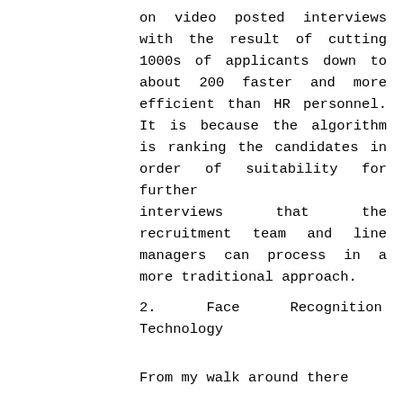on video posted interviews with the result of cutting 1000s of applicants down to about 200 faster and more efficient than HR personnel. It is because the algorithm is ranking the candidates in order of suitability for further interviews that the recruitment team and line managers can process in a more traditional approach.
2.      Face      Recognition Technology
From my walk around there